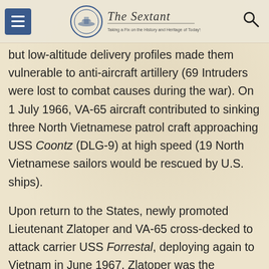The Sextant — Taking a Fix on the History and Heritage of Today's U.S. Navy
but low-altitude delivery profiles made them vulnerable to anti-aircraft artillery (69 Intruders were lost to combat causes during the war). On 1 July 1966, VA-65 aircraft contributed to sinking three North Vietnamese patrol craft approaching USS Coontz (DLG-9) at high speed (19 North Vietnamese sailors would be rescued by U.S. ships).
Upon return to the States, newly promoted Lieutenant Zlatoper and VA-65 cross-decked to attack carrier USS Forrestal, deploying again to Vietnam in June 1967. Zlatoper was the squadron duty officer during Forrestal's